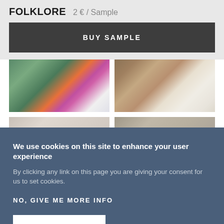FOLKLORE   2 € / Sample
BUY SAMPLE
[Figure (photo): Room interior with green door and pink/purple flowers on an orange table]
[Figure (photo): Living room with dog lying under dark wooden table, light wood floor]
[Figure (photo): Interior room partial view]
[Figure (photo): Textured surface partial view]
We use cookies on this site to enhance your user experience
By clicking any link on this page you are giving your consent for us to set cookies.
NO, GIVE ME MORE INFO
OK, I AGREE